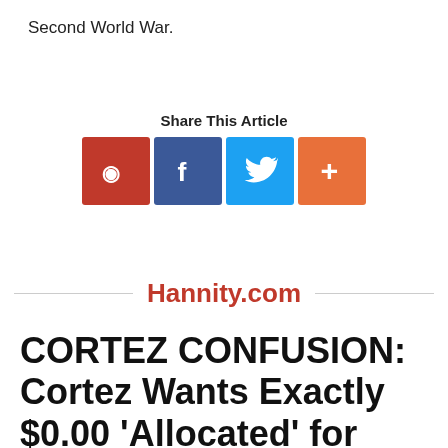Second World War.
[Figure (infographic): Share This Article social media buttons: Parler (red), Facebook (blue), Twitter (light blue), Plus/More (orange)]
Hannity.com
CORTEZ CONFUSION: Cortez Wants Exactly $0.00 'Allocated' for Trump's